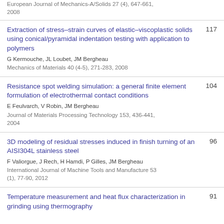European Journal of Mechanics-A/Solids 27 (4), 647-661, 2008
Extraction of stress–strain curves of elastic–viscoplastic solids using conical/pyramidal indentation testing with application to polymers
G Kermouche, JL Loubet, JM Bergheau
Mechanics of Materials 40 (4-5), 271-283, 2008
117
Resistance spot welding simulation: a general finite element formulation of electrothermal contact conditions
E Feulvarch, V Robin, JM Bergheau
Journal of Materials Processing Technology 153, 436-441, 2004
104
3D modeling of residual stresses induced in finish turning of an AISI304L stainless steel
F Valiorgue, J Rech, H Hamdi, P Gilles, JM Bergheau
International Journal of Machine Tools and Manufacture 53 (1), 77-90, 2012
96
Temperature measurement and heat flux characterization in grinding using thermography
91